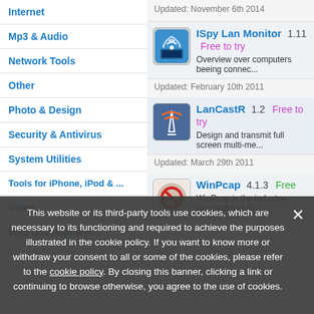Internet
Mp3 & Audio
Network Tools
Other
Photo & Design
Security & Antivirus
System Utilities
Tools for iPhone, iPod & ...
Video
Web Development
Updated: November 6th 2014
ISpy Lan Monitor 1.11 Free to try
Overview over computers beeing connec...
Updated: February 10th 2011
LanCastR 1.2 Free to try
Design and transmit full screen multi-me...
Updated: March 29th 2011
WinPcap 4.1.3 Free
WinPcap is the industry-standard tool fo...
This website or its third-party tools use cookies, which are necessary to its functioning and required to achieve the purposes illustrated in the cookie policy. If you want to know more or withdraw your consent to all or some of the cookies, please refer to the cookie policy. By closing this banner, clicking a link or continuing to browse otherwise, you agree to the use of cookies.